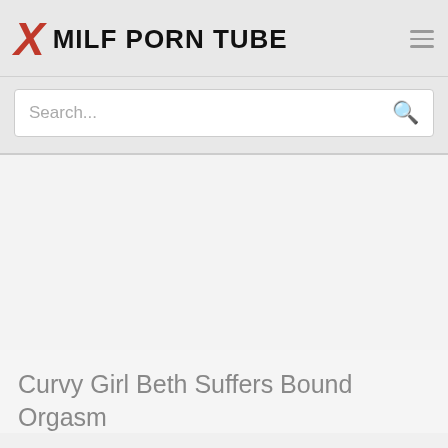MILF PORN TUBE
Search...
Curvy Girl Beth Suffers Bound Orgasm